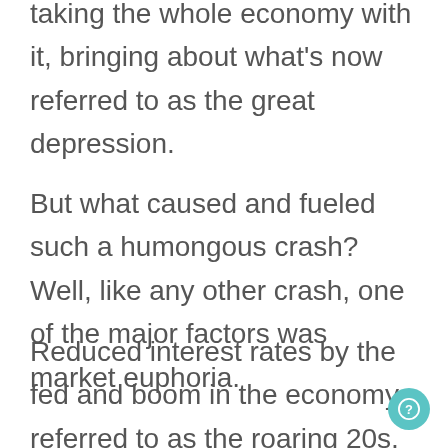taking the whole economy with it, bringing about what's now referred to as the great depression.
But what caused and fueled such a humongous crash? Well, like any other crash, one of the major factors was market euphoria.
Reduced interest rates by the fed and boom in the economy, referred to as the roaring 20s, took the stock markets to uncomfortable heights fueled by the increased purchasing power of individuals.